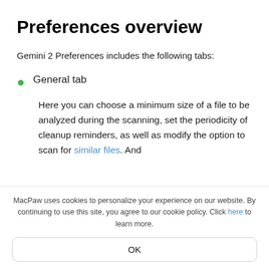Preferences overview
Gemini 2 Preferences includes the following tabs:
General tab
Here you can choose a minimum size of a file to be analyzed during the scanning, set the periodicity of cleanup reminders, as well as modify the option to scan for similar files. And
MacPaw uses cookies to personalize your experience on our website. By continuing to use this site, you agree to our cookie policy. Click here to learn more.
OK